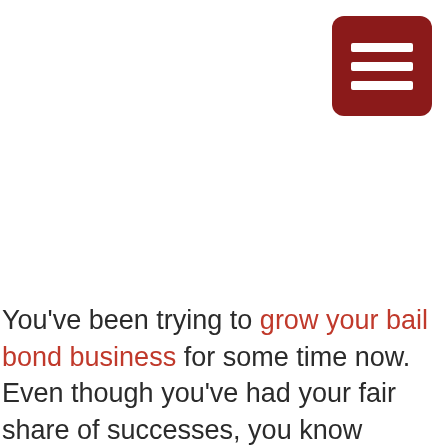[Figure (other): Dark red rounded square button with three white horizontal lines (hamburger menu icon) in the top-right corner]
You've been trying to grow your bail bond business for some time now. Even though you've had your fair share of successes, you know